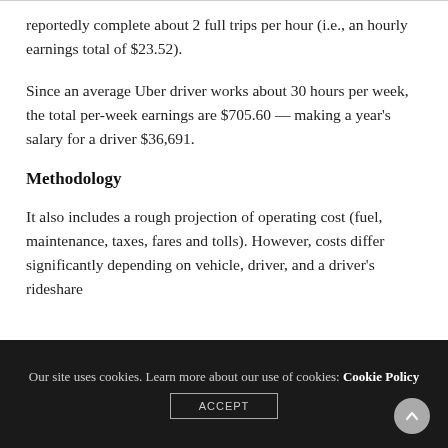reportedly complete about 2 full trips per hour (i.e., an hourly earnings total of $23.52).
Since an average Uber driver works about 30 hours per week, the total per-week earnings are $705.60 — making a year's salary for a driver $36,691.
Methodology
It also includes a rough projection of operating cost (fuel, maintenance, taxes, fares and tolls). However, costs differ significantly depending on vehicle, driver, and a driver's rideshare
Our site uses cookies. Learn more about our use of cookies: Cookie Policy ACCEPT